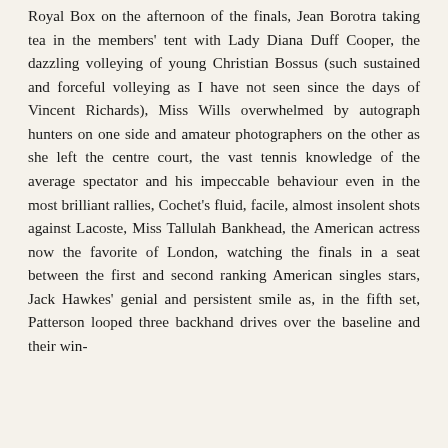Royal Box on the afternoon of the finals, Jean Borotra taking tea in the members' tent with Lady Diana Duff Cooper, the dazzling volleying of young Christian Bossus (such sustained and forceful volleying as I have not seen since the days of Vincent Richards), Miss Wills overwhelmed by autograph hunters on one side and amateur photographers on the other as she left the centre court, the vast tennis knowledge of the average spectator and his impeccable behaviour even in the most brilliant rallies, Cochet's fluid, facile, almost insolent shots against Lacoste, Miss Tallulah Bankhead, the American actress now the favorite of London, watching the finals in a seat between the first and second ranking American singles stars, Jack Hawkes' genial and persistent smile as, in the fifth set, Patterson looped three backhand drives over the baseline and their win-